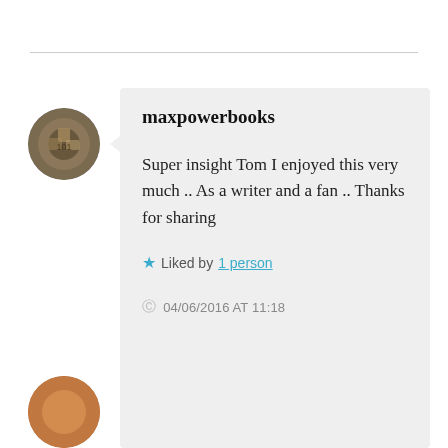maxpowerbooks
Super insight Tom I enjoyed this very much .. As a writer and a fan .. Thanks for sharing
★ Liked by 1 person
04/06/2016 AT 11:18